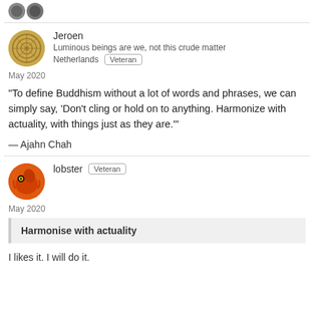[Figure (illustration): Two small decorative coin/medallion icons at top]
Jeroen
Luminous beings are we, not this crude matter
Netherlands  Veteran
May 2020
“To define Buddhism without a lot of words and phrases, we can simply say, ‘Don’t cling or hold on to anything. Harmonize with actuality, with things just as they are.’”
— Ajahn Chah
lobster  Veteran
May 2020
Harmonise with actuality
I likes it. I will do it.